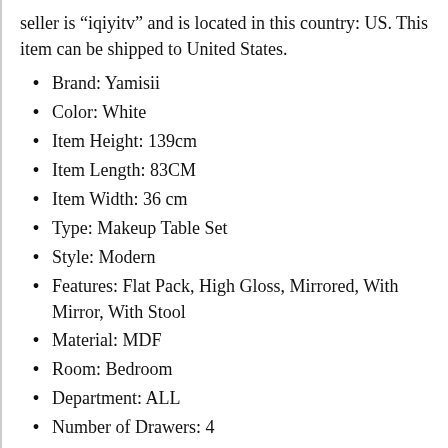seller is “iqiyitv” and is located in this country: US. This item can be shipped to United States.
Brand: Yamisii
Color: White
Item Height: 139cm
Item Length: 83CM
Item Width: 36 cm
Type: Makeup Table Set
Style: Modern
Features: Flat Pack, High Gloss, Mirrored, With Mirror, With Stool
Material: MDF
Room: Bedroom
Department: ALL
Number of Drawers: 4
Additional Parts Required: Yes
Assembly Required: Yes
Mounting: Free-standing